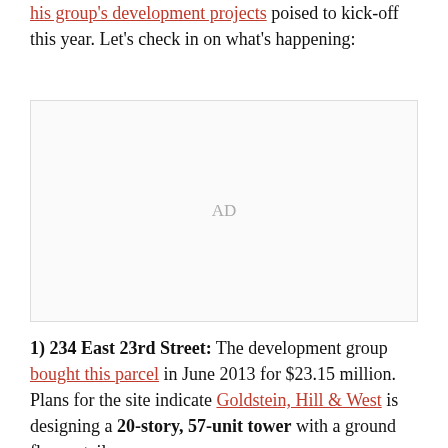his group's development projects poised to kick-off this year. Let's check in on what's happening:
[Figure (other): Advertisement placeholder box with 'AD' label in gray]
1) 234 East 23rd Street: The development group bought this parcel in June 2013 for $23.15 million. Plans for the site indicate Goldstein, Hill & West is designing a 20-story, 57-unit tower with a ground floor retail